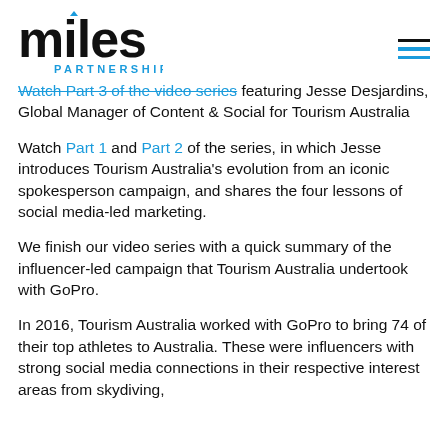[Figure (logo): Miles Partnership logo — 'miles' in large black lowercase with a blue arrow/triangle above the 'i', 'PARTNERSHIP' in small blue uppercase letters below]
Watch Part 3 of the video series featuring Jesse Desjardins, Global Manager of Content & Social for Tourism Australia
Watch Part 1 and Part 2 of the series, in which Jesse introduces Tourism Australia's evolution from an iconic spokesperson campaign, and shares the four lessons of social media-led marketing.
We finish our video series with a quick summary of the influencer-led campaign that Tourism Australia undertook with GoPro.
In 2016, Tourism Australia worked with GoPro to bring 74 of their top athletes to Australia. These were influencers with strong social media connections in their respective interest areas from skydiving,